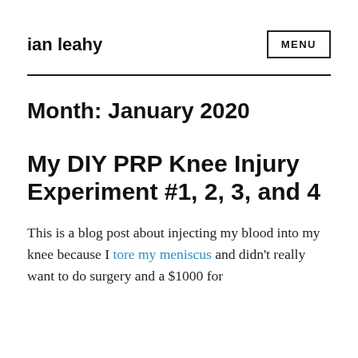ian leahy
Month: January 2020
My DIY PRP Knee Injury Experiment #1, 2, 3, and 4
This is a blog post about injecting my blood into my knee because I tore my meniscus and didn't really want to do surgery and a $1000 for